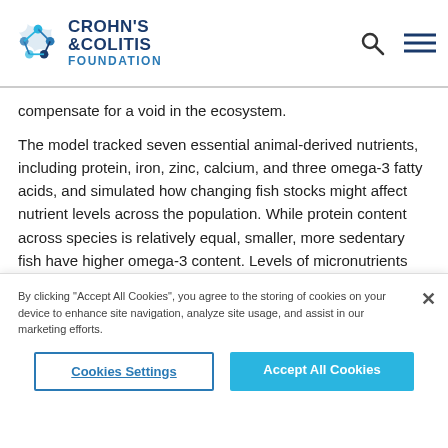Crohn's & Colitis Foundation
compensate for a void in the ecosystem.
The model tracked seven essential animal-derived nutrients, including protein, iron, zinc, calcium, and three omega-3 fatty acids, and simulated how changing fish stocks might affect nutrient levels across the population. While protein content across species is relatively equal, smaller, more sedentary fish have higher omega-3 content. Levels of micronutrients such as zinc and iron can also vary between species.
By clicking “Accept All Cookies”, you agree to the storing of cookies on your device to enhance site navigation, analyze site usage, and assist in our marketing efforts.